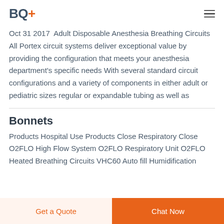BQ+
Oct 31 2017  Adult Disposable Anesthesia Breathing Circuits All Portex circuit systems deliver exceptional value by providing the configuration that meets your anesthesia department's specific needs With several standard circuit configurations and a variety of components in either adult or pediatric sizes regular or expandable tubing as well as
Bonnets
Products Hospital Use Products Close Respiratory Close O2FLO High Flow System O2FLO Respiratory Unit O2FLO Heated Breathing Circuits VHC60 Auto fill Humidification